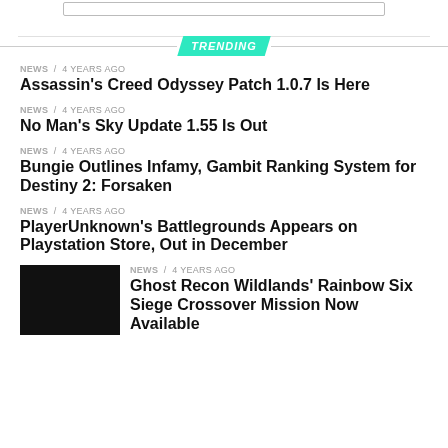[Figure (other): Search box UI element]
TRENDING
NEWS / 4 years ago
Assassin's Creed Odyssey Patch 1.0.7 Is Here
NEWS / 4 years ago
No Man's Sky Update 1.55 Is Out
NEWS / 4 years ago
Bungie Outlines Infamy, Gambit Ranking System for Destiny 2: Forsaken
NEWS / 4 years ago
PlayerUnknown's Battlegrounds Appears on Playstation Store, Out in December
[Figure (photo): Black thumbnail image]
NEWS / 4 years ago
Ghost Recon Wildlands' Rainbow Six Siege Crossover Mission Now Available